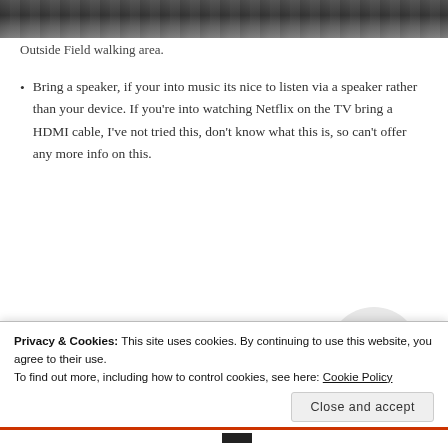[Figure (photo): Aerial or ground-level photo of a dark asphalt walking area (Outside Field walking area)]
Outside Field walking area.
Bring a speaker, if your into music its nice to listen via a speaker rather than your device. If you’re into watching Netflix on the TV bring a HDMI cable, I’ve not tried this, don’t know what this is, so can’t offer any more info on this.
[Figure (screenshot): Apply button (blue) and a circular profile photo of a man looking upward/sideways with glasses and a beige shirt]
Privacy & Cookies: This site uses cookies. By continuing to use this website, you agree to their use.
To find out more, including how to control cookies, see here: Cookie Policy
Close and accept